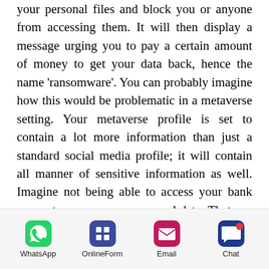your personal files and block you or anyone from accessing them. It will then display a message urging you to pay a certain amount of money to get your data back, hence the name 'ransomware'. You can probably imagine how this would be problematic in a metaverse setting. Your metaverse profile is set to contain a lot more information than just a standard social media profile; it will contain all manner of sensitive information as well. Imagine not being able to access your bank accounts or even your personal data. That can become quite problematic in a metaverse setting.
[Figure (infographic): Footer navigation bar with four icons: WhatsApp (green phone icon), OnlineForm (dark blue grid icon), Email (pink/magenta envelope icon), Chat (blue speech bubble with red notification dot)]